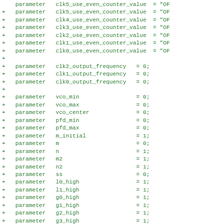Code diff showing parameter declarations with + prefix in green monospace font, including clk5-clk0 use_even_counter_value, clk2-clk0 output_frequency, vco_min, vco_max, vco_center, pfd_min, pfd_max, m_initial, m, n, m2, n2, ss, l0_high, l1_high, g0_high, g1_high, g2_high, g3_high, e0_high, e1_high parameters